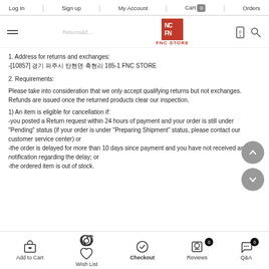Log In | Sign up | My Account | Cart 0 | Orders
[Figure (logo): FNC STORE logo - red square with FNC text and store name below]
1. Address for returns and exchanges:
-[10857] 경기 파주시 탄현면 축현리 185-1 FNC STORE
2. Requirements:
Please take into consideration that we only accept qualifying returns but not exchanges. Refunds are issued once the returned products clear our inspection.
1) An item is eligible for cancellation if:
-you posted a Return request within 24 hours of payment and your order is still under "Pending" status (if your order is under "Preparing Shipment" status, please contact our customer service center) or
-the order is delayed for more than 10 days since payment and you have not received any notification regarding the delay; or
-the ordered item is out of stock.
Add to Cart | Wish List | Checkout | Reviews 0 | Q&A 0